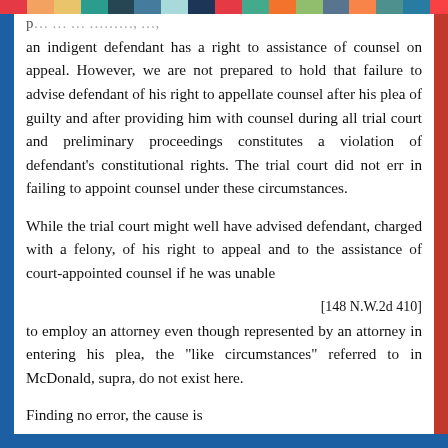an indigent defendant has a right to assistance of counsel on appeal. However, we are not prepared to hold that failure to advise defendant of his right to appellate counsel after his plea of guilty and after providing him with counsel during all trial court and preliminary proceedings constitutes a violation of defendant's constitutional rights. The trial court did not err in failing to appoint counsel under these circumstances.
While the trial court might well have advised defendant, charged with a felony, of his right to appeal and to the assistance of court-appointed counsel if he was unable
[148 N.W.2d 410]
to employ an attorney even though represented by an attorney in entering his plea, the "like circumstances" referred to in McDonald, supra, do not exist here.
Finding no error, the cause is